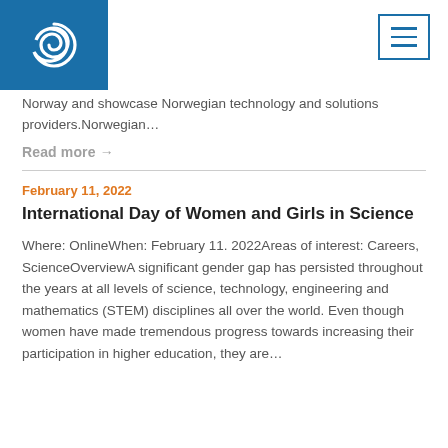[Figure (logo): Blue square logo with white spiral/swirl icon representing an organization]
[Figure (other): Blue bordered menu/hamburger icon with three horizontal lines]
Norway and showcase Norwegian technology and solutions providers.Norwegian…
Read more →
February 11, 2022
International Day of Women and Girls in Science
Where: OnlineWhen: February 11. 2022Areas of interest: Careers, ScienceOverviewA significant gender gap has persisted throughout the years at all levels of science, technology, engineering and mathematics (STEM) disciplines all over the world. Even though women have made tremendous progress towards increasing their participation in higher education, they are…